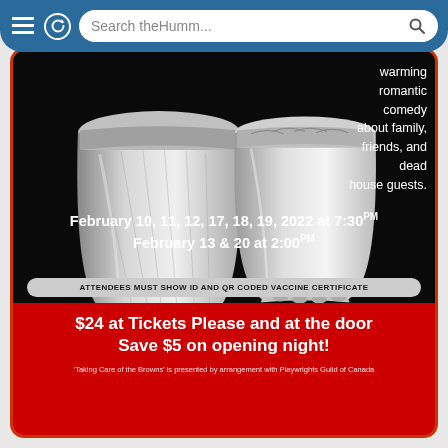Search theHumm...
[Figure (illustration): Two ornate silver funeral urns on black background with text: warming romantic comedy about family, friends, and dead house guests.]
February 10, 11, 12, 17, 18, 19, 2022 at 7:30PM
February 13 & 20 at 2:00PM
ATTENDEES MUST SHOW ID AND QR CODED VACCINE CERTIFICATE
$24 at Tickets Please and at the door
Save $5 on opening night!
'Taking Care of the Browns' is presented by arrangement with Playwrights Guild of Canada